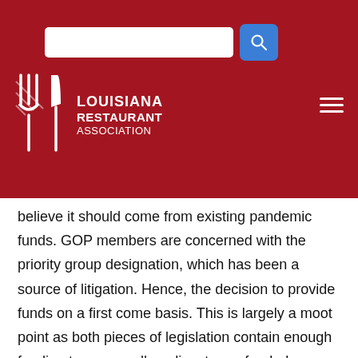[Figure (logo): Louisiana Restaurant Association logo with search bar and hamburger menu on dark red header background]
believe it should come from existing pandemic funds.  GOP members are concerned with the priority group designation, which has been a source of litigation.  Hence, the decision to provide funds on a first come basis.  This is largely a moot point as both pieces of legislation contain enough funding to ensure all applicants are funded.
What does the introduction of the ENTRÉE Act mean?
Driving up cosponsors of the ENTRÉE Act will be helpful in demonstrating and building support for a solution.  So, we are still operating under the same strategy, but now there